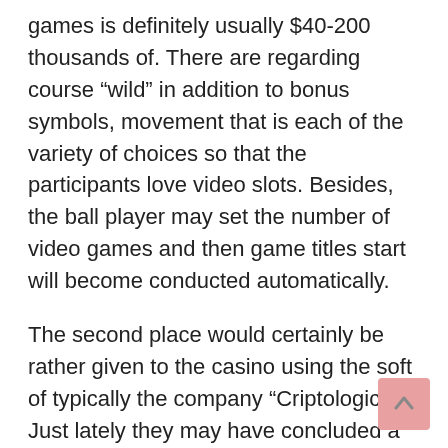games is definitely usually $40-200 thousands of. There are regarding course “wild” in addition to bonus symbols, movement that is each of the variety of choices so that the participants love video slots. Besides, the ball player may set the number of video games and then game titles start will become conducted automatically.
The second place would certainly be rather given to the casino using the soft of typically the company “Criptologic”. Just lately they may have concluded a new treaty with the popular comics writer – the company “Marvel” and have previously created more compared to ten video slot machine games with popular comics heroes (we know, for instance , such personages as Hulk plus Spiderman). All inside